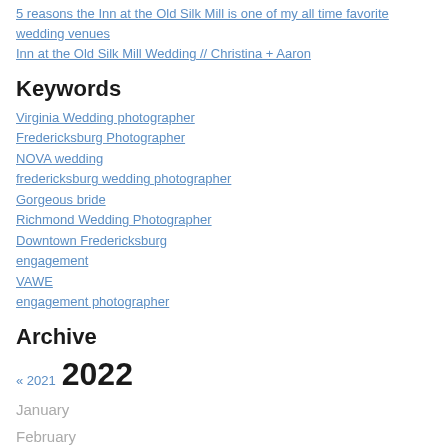5 reasons the Inn at the Old Silk Mill is one of my all time favorite wedding venues
Inn at the Old Silk Mill Wedding // Christina + Aaron
Keywords
Virginia Wedding photographer
Fredericksburg Photographer
NOVA wedding
fredericksburg wedding photographer
Gorgeous bride
Richmond Wedding Photographer
Downtown Fredericksburg
engagement
VAWE
engagement photographer
Archive
« 2021  2022
January
February
March
April